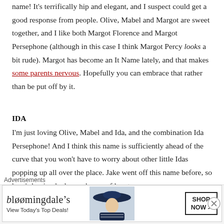name! It's terrifically hip and elegant, and I suspect could get a good response from people. Olive, Mabel and Margot are sweet together, and I like both Margot Florence and Margot Persephone (although in this case I think Margot Percy looks a bit rude). Margot has become an It Name lately, and that makes some parents nervous. Hopefully you can embrace that rather than be put off by it.
IDA
I'm just loving Olive, Mabel and Ida, and the combination Ida Persephone! And I think this name is sufficiently ahead of the curve that you won't have to worry about other little Idas popping up all over the place. Jake went off this name before, so here's hoping he has a change of heart.
Advertisements
[Figure (other): Bloomingdale's advertisement banner with logo, tagline 'View Today's Top Deals!', a woman wearing a large blue hat, and a 'SHOP NOW >' button.]